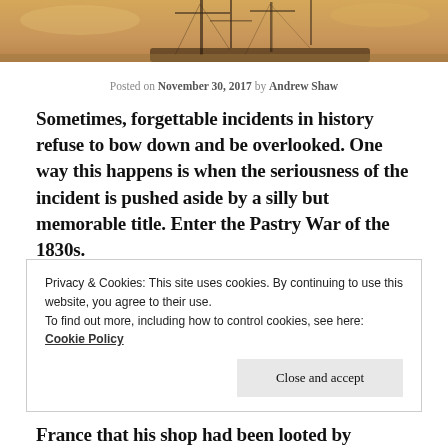[Figure (photo): Partial view of a historical painting showing a sailing ship with masts against a warm sky background.]
Posted on November 30, 2017 by Andrew Shaw
Sometimes, forgettable incidents in history refuse to bow down and be overlooked. One way this happens is when the seriousness of the incident is pushed aside by a silly but memorable title. Enter the Pastry War of the 1830s.
Privacy & Cookies: This site uses cookies. By continuing to use this website, you agree to their use.
To find out more, including how to control cookies, see here: Cookie Policy
France that his shop had been looted by